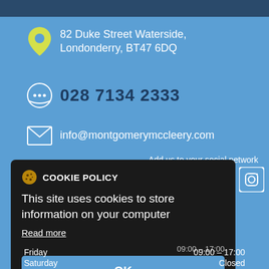82 Duke Street Waterside, Londonderry, BT47 6DQ
028 7134 2333
info@montgomerymccleery.com
Add us to your social network
[Figure (infographic): Cookie policy modal overlay on blue background. Contains cookie icon, COOKIE POLICY title, body text 'This site uses cookies to store information on your computer', 'Read more' link, and OK button. Social media icons (Facebook, Twitter, YouTube, Instagram) partially visible behind the modal.]
Friday    09:00 – 17:00
Saturday    Closed